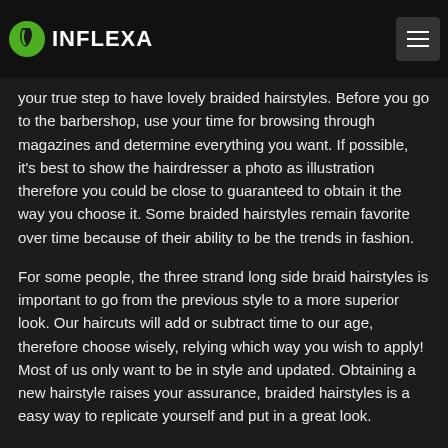INFLEXA
your true step to have lovely braided hairstyles. Before you go to the barbershop, use your time for browsing through magazines and determine everything you want. If possible, it's best to show the hairdresser a photo as illustration therefore you could be close to guaranteed to obtain it the way you choose it. Some braided hairstyles remain favorite over time because of their ability to be the trends in fashion.
For some people, the three strand long side braid hairstyles is important to go from the previous style to a more superior look. Our haircuts will add or subtract time to our age, therefore choose wisely, relying which way you wish to apply! Most of us only want to be in style and updated. Obtaining a new hairstyle raises your assurance, braided hairstyles is a easy way to replicate yourself and put in a great look.